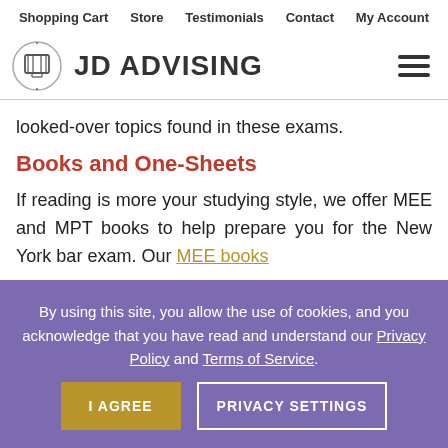Shopping Cart | Store | Testimonials | Contact | My Account
[Figure (logo): JD Advising logo with diploma/scroll icon and text 'JD ADVISING']
looked-over topics found in these exams.
Books and One-Sheets
If reading is more your studying style, we offer MEE and MPT books to help prepare you for the New York bar exam. Our MEE books
By using this site, you allow the use of cookies, and you acknowledge that you have read and understand our Privacy Policy and Terms of Service.
I AGREE | PRIVACY SETTINGS